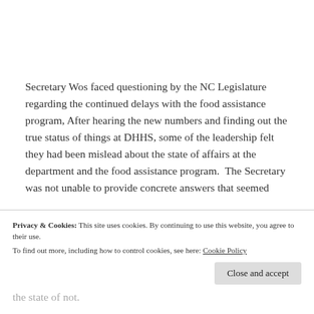Secretary Wos faced questioning by the NC Legislature regarding the continued delays with the food assistance program, After hearing the new numbers and finding out the true status of things at DHHS, some of the leadership felt they had been mislead about the state of affairs at the department and the food assistance program.  The Secretary was not unable to provide concrete answers that seemed
Privacy & Cookies: This site uses cookies. By continuing to use this website, you agree to their use.
To find out more, including how to control cookies, see here: Cookie Policy
the state of not.